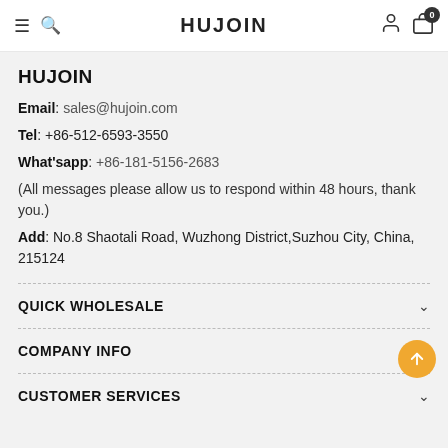HUJOIN
HUJOIN
Email: sales@hujoin.com
Tel: +86-512-6593-3550
What'sapp: +86-181-5156-2683
(All messages please allow us to respond within 48 hours, thank you.)
Add: No.8 Shaotali Road, Wuzhong District,Suzhou City, China, 215124
QUICK WHOLESALE
COMPANY INFO
CUSTOMER SERVICES